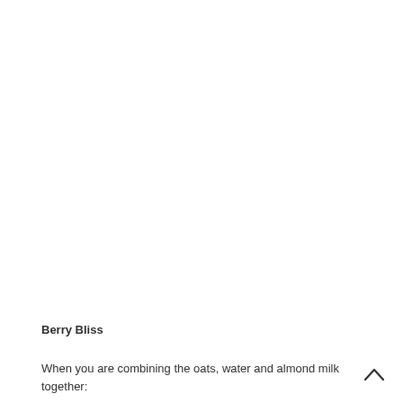Berry Bliss
When you are combining the oats, water and almond milk together: